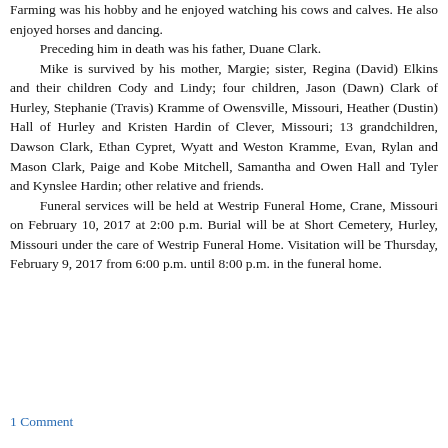Farming was his hobby and he enjoyed watching his cows and calves. He also enjoyed horses and dancing.
	Preceding him in death was his father, Duane Clark.
	Mike is survived by his mother, Margie; sister, Regina (David) Elkins and their children Cody and Lindy; four children, Jason (Dawn) Clark of Hurley, Stephanie (Travis) Kramme of Owensville, Missouri, Heather (Dustin) Hall of Hurley and Kristen Hardin of Clever, Missouri; 13 grandchildren, Dawson Clark, Ethan Cypret, Wyatt and Weston Kramme, Evan, Rylan and Mason Clark, Paige and Kobe Mitchell, Samantha and Owen Hall and Tyler and Kynslee Hardin; other relative and friends.
	Funeral services will be held at Westrip Funeral Home, Crane, Missouri on February 10, 2017 at 2:00 p.m. Burial will be at Short Cemetery, Hurley, Missouri under the care of Westrip Funeral Home. Visitation will be Thursday, February 9, 2017 from 6:00 p.m. until 8:00 p.m. in the funeral home.
1 Comment